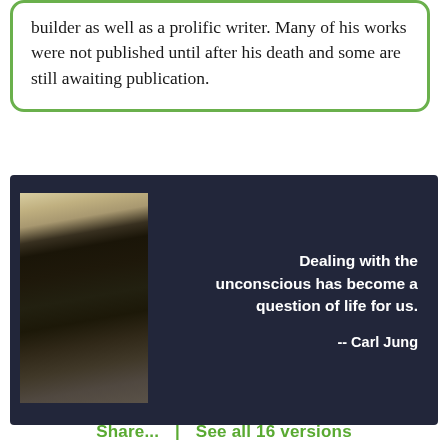builder as well as a prolific writer. Many of his works were not published until after his death and some are still awaiting publication.
[Figure (photo): Dark background panel with a sepia-toned photograph of Carl Jung as a young man standing in a suit, paired with a white bold quote on the right: 'Dealing with the unconscious has become a question of life for us.' attributed to -- Carl Jung]
Share...  |  See all 16 versions